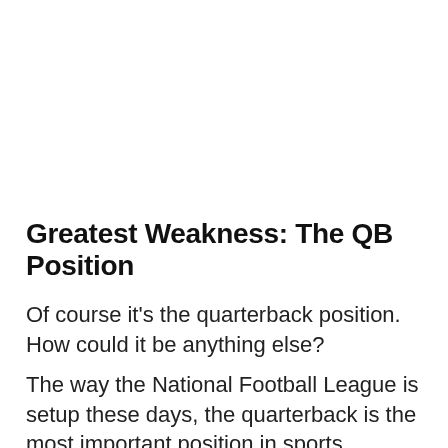Greatest Weakness: The QB Position
Of course it's the quarterback position. How could it be anything else?
The way the National Football League is setup these days, the quarterback is the most important position in sports.
Just look at the teams and QBs who've won Super